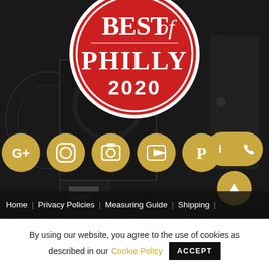[Figure (photo): Dark background photo of an art studio/gallery interior with artwork on walls]
[Figure (logo): Best of Philly 2020 red circular badge/award logo with white text]
[Figure (infographic): Row of golden social media icon buttons: Google+, Instagram, camera, YouTube, Pinterest, info+phone merged, and an up-arrow scroll-to-top button]
Home | Privacy Policies | Measuring Guide | Shipping |
By using our website, you agree to the use of cookies as described in our Cookie Policy ACCEPT